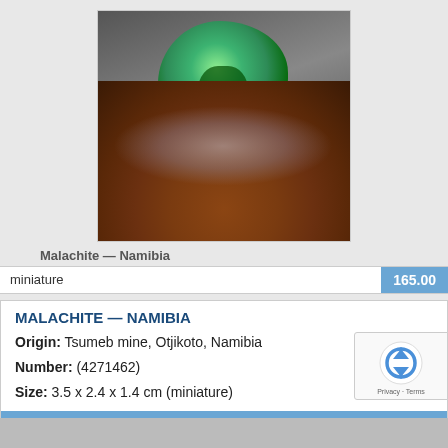[Figure (photo): Photograph of a malachite mineral specimen on a reddish-brown rocky matrix, showing green crystalline formation on top, against a dark gradient background.]
Malachite — Namibia
| miniature | 165.00 |
| --- | --- |
MALACHITE — NAMIBIA
Origin: Tsumeb mine, Otjikoto, Namibia
Number: (4271462)
Size: 3.5 x 2.4 x 1.4 cm (miniature)
165.00